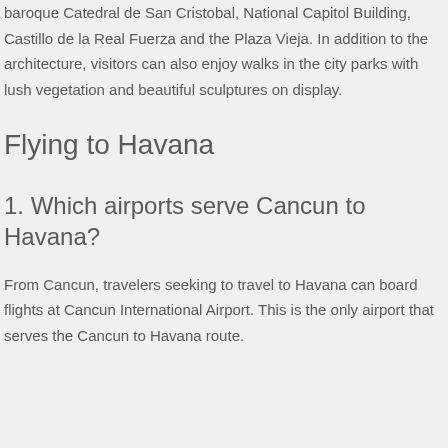baroque Catedral de San Cristobal, National Capitol Building, Castillo de la Real Fuerza and the Plaza Vieja. In addition to the architecture, visitors can also enjoy walks in the city parks with lush vegetation and beautiful sculptures on display.
Flying to Havana
1. Which airports serve Cancun to Havana?
From Cancun, travelers seeking to travel to Havana can board flights at Cancun International Airport. This is the only airport that serves the Cancun to Havana route.